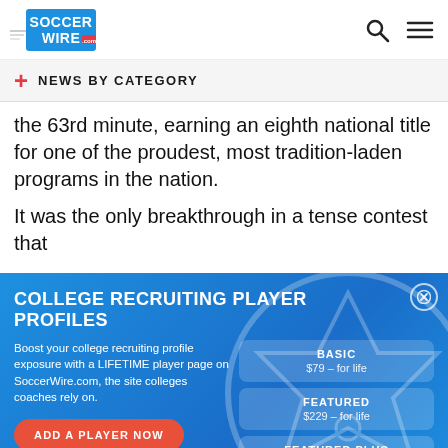[Figure (logo): SoccerWire.com logo with search and menu icons]
NEWS BY CATEGORY
the 63rd minute, earning an eighth national title for one of the proudest, most tradition-laden programs in the nation.
It was the only breakthrough in a tense contest that
[Figure (infographic): College Recruiting Player Profiles ad banner with Basic ($79 for life), Featured ($229 for life), and Featured Plus ($349 for life) plans and Add A Player Now button]